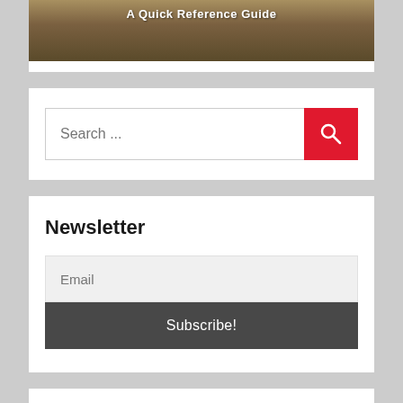[Figure (photo): Photo of people walking on a path with text overlay 'A Quick Reference Guide']
Search ...
Newsletter
Email
Subscribe!
Trending